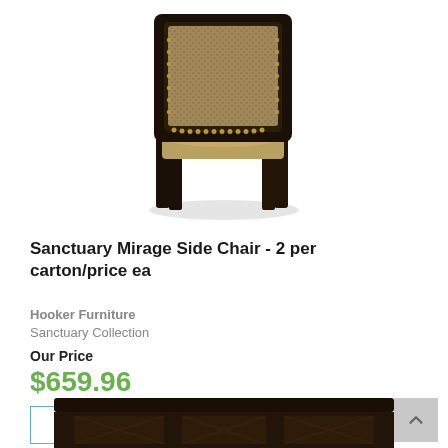[Figure (photo): Product photo of Sanctuary Mirage Side Chair viewed from behind at an angle, showing dark wood legs and frame with tan/leopard print upholstered seat and back with nailhead trim detail]
Sanctuary Mirage Side Chair - 2 per carton/price ea
Hooker Furniture
Sanctuary Collection
Our Price
$659.96
See Details
[Figure (photo): Partial bottom view of another dark wood furniture piece (appears to be a table or cabinet) showing decorative carved base]